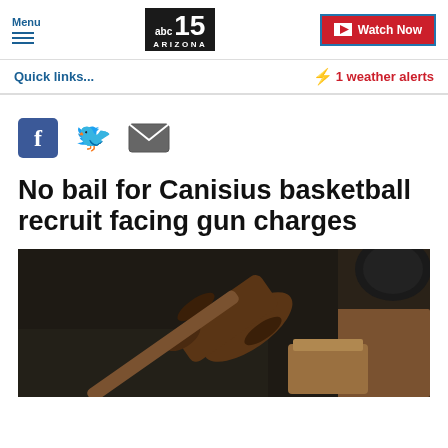Menu | abc15 ARIZONA | Watch Now
Quick links...
⚡ 1 weather alerts
[Figure (illustration): Social sharing icons: Facebook (blue square with f), Twitter (blue bird), Email (grey envelope)]
No bail for Canisius basketball recruit facing gun charges
[Figure (photo): A wooden judge's gavel resting on its sound block on a dark surface, with a dark round object in the upper right corner — a courtroom/legal themed stock photo.]